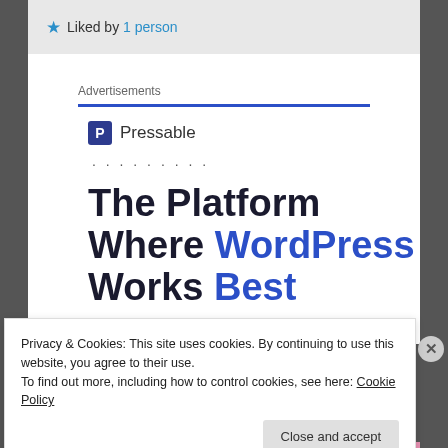★ Liked by 1 person
Advertisements
[Figure (logo): Pressable logo: dark blue P icon followed by text 'Pressable']
. . . . . . . . .
The Platform Where WordPress Works Best
Privacy & Cookies: This site uses cookies. By continuing to use this website, you agree to their use.
To find out more, including how to control cookies, see here: Cookie Policy
Close and accept